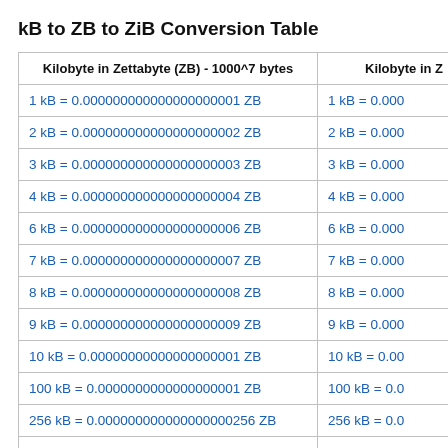kB to ZB to ZiB Conversion Table
| Kilobyte in Zettabyte (ZB) - 1000^7 bytes | Kilobyte in Z |
| --- | --- |
| 1 kB = 0.000000000000000000001 ZB | 1 kB = 0.000... |
| 2 kB = 0.000000000000000000002 ZB | 2 kB = 0.000... |
| 3 kB = 0.000000000000000000003 ZB | 3 kB = 0.000... |
| 4 kB = 0.000000000000000000004 ZB | 4 kB = 0.000... |
| 6 kB = 0.000000000000000000006 ZB | 6 kB = 0.000... |
| 7 kB = 0.000000000000000000007 ZB | 7 kB = 0.000... |
| 8 kB = 0.000000000000000000008 ZB | 8 kB = 0.000... |
| 9 kB = 0.000000000000000000009 ZB | 9 kB = 0.000... |
| 10 kB = 0.00000000000000000001 ZB | 10 kB = 0.00... |
| 100 kB = 0.0000000000000000001 ZB | 100 kB = 0.0... |
| 256 kB = 0.000000000000000000256 ZB | 256 kB = 0.0... |
| 500 kB = 0.0000000000000000005 ZB | 500 kB = 0.0... |